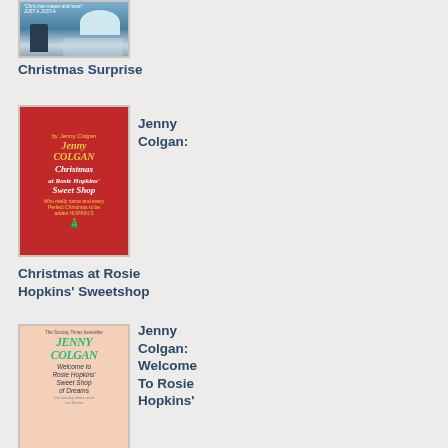[Figure (illustration): Book cover for Christmas Surprise, partially cropped at top, showing a blue/teal winter scene with a figure and snowy landscape]
Christmas Surprise
[Figure (illustration): Book cover for Christmas at Rosie Hopkins Sweetshop by Jenny Colgan, red background with gold decorative border, Christmas tree, title text in white and gold]
Jenny Colgan:
Christmas at Rosie Hopkins' Sweetshop
[Figure (illustration): Book cover for Welcome To Rosie Hopkins Sweet Shop of Dreams by Jenny Colgan, peach/salmon background with green author name text]
Jenny Colgan: Welcome To Rosie Hopkins'